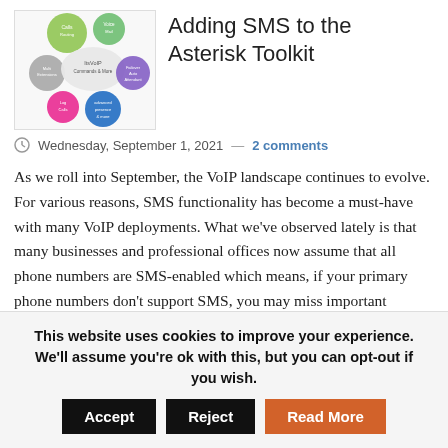[Figure (illustration): Colorful bubble/circle diagram showing interconnected VoIP components including Asterisk, Commands & More, and other labeled circles in green, orange, pink, purple, grey colors]
Adding SMS to the Asterisk Toolkit
Wednesday, September 1, 2021 — 2 comments
As we roll into September, the VoIP landscape continues to evolve. For various reasons, SMS functionality has become a must-have with many VoIP deployments. What we've observed lately is that many businesses and professional offices now assume that all phone numbers are SMS-enabled which means, if your primary phone numbers don't support SMS, you may miss important notices and reminders. Particularly in this COVID era, physicians have incredibly high rates of no-shows for appointments so you'll typically get multiple SMS... READ MORE ›
This website uses cookies to improve your experience. We'll assume you're ok with this, but you can opt-out if you wish. Accept Reject Read More